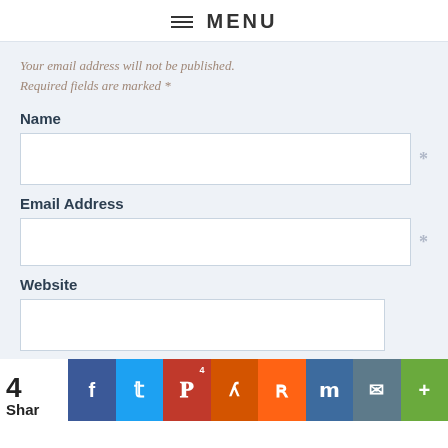≡ MENU
Your email address will not be published. Required fields are marked *
Name
Email Address
Website
4 Shar | Facebook | Twitter | Pinterest (4) | Yummly | Reddit | Mix | Email | More